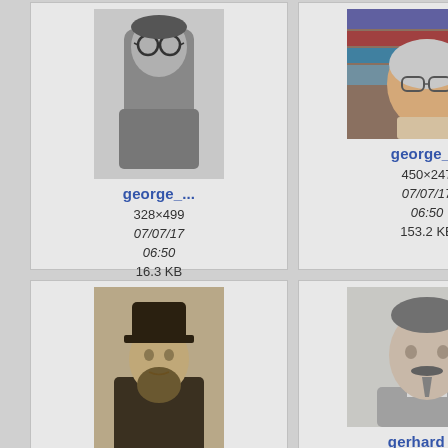[Figure (screenshot): File browser / gallery view showing image thumbnails with filenames, dimensions, dates, and file sizes. Four visible cards: george_... (328x499, 07/07/17 06:50, 16.3 KB), george_... (450x247, 07/07/17 06:50, 153.2 KB), georgy_g... (371x475, 14/11/20 09:28, 39.1 KB), gerhard_... (200x217, 01/06/20 11:51, 10.4 KB), plus partial cards on right edge.]